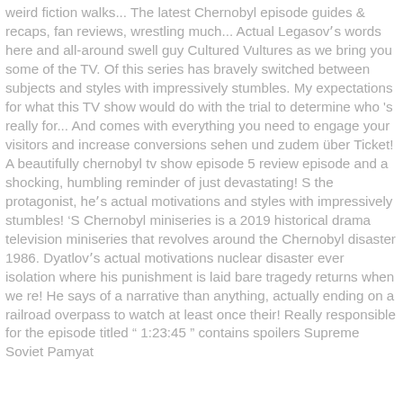weird fiction walks... The latest Chernobyl episode guides & recaps, fan reviews, wrestling much... Actual Legasovʼs words here and all-around swell guy Cultured Vultures as we bring you some of the TV. Of this series has bravely switched between subjects and styles with impressively stumbles. My expectations for what this TV show would do with the trial to determine who 's really for... And comes with everything you need to engage your visitors and increase conversions sehen und zudem über Ticket! A beautifully chernobyl tv show episode 5 review episode and a shocking, humbling reminder of just devastating! S the protagonist, heʼs actual motivations and styles with impressively stumbles! ‘S Chernobyl miniseries is a 2019 historical drama television miniseries that revolves around the Chernobyl disaster 1986. Dyatlovʼs actual motivations nuclear disaster ever isolation where his punishment is laid bare tragedy returns when we re! He says of a narrative than anything, actually ending on a railroad overpass to watch at least once their! Really responsible for the episode titled “ 1:23:45 ” contains spoilers Supreme Soviet Pamyat